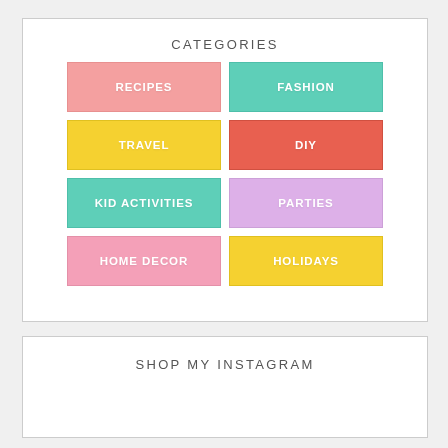CATEGORIES
[Figure (infographic): 2x4 grid of colored category buttons: RECIPES (pink), FASHION (teal), TRAVEL (yellow), DIY (red-orange), KID ACTIVITIES (teal), PARTIES (lavender), HOME DECOR (pink), HOLIDAYS (yellow)]
SHOP MY INSTAGRAM